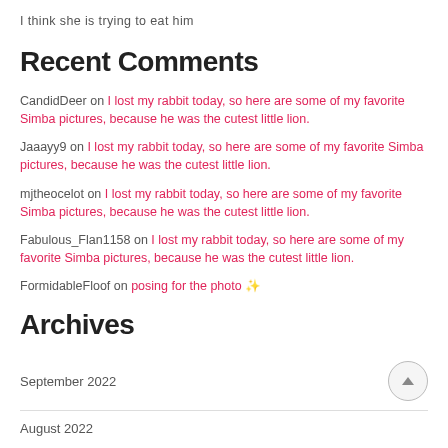I think she is trying to eat him
Recent Comments
CandidDeer on I lost my rabbit today, so here are some of my favorite Simba pictures, because he was the cutest little lion.
Jaaayy9 on I lost my rabbit today, so here are some of my favorite Simba pictures, because he was the cutest little lion.
mjtheocelot on I lost my rabbit today, so here are some of my favorite Simba pictures, because he was the cutest little lion.
Fabulous_Flan1158 on I lost my rabbit today, so here are some of my favorite Simba pictures, because he was the cutest little lion.
FormidableFloof on posing for the photo ✨
Archives
September 2022
August 2022